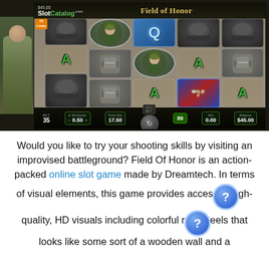[Figure (screenshot): Screenshot of the Field of Honor online slot game by Dreamtech, showing 5 reels with symbols including helmets, letter A, Q, backpacks, a female character, and a WILD symbol. Bottom bar shows Bet: 35, Multiplier: 0.50, Total Bet: 17.50, Win: 0.00, Balance: $45.00. SlotCatalog.com logo in top left.]
Would you like to try your shooting skills by visiting an improvised battleground? Field Of Honor is an action-packed online slot game made by Dreamtech. In terms of visual elements, this game provides access to high-quality, HD visuals including colorful reels that looks like some sort of a wooden wall and a